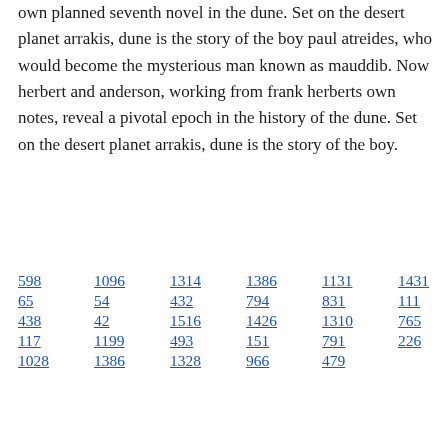own planned seventh novel in the dune. Set on the desert planet arrakis, dune is the story of the boy paul atreides, who would become the mysterious man known as mauddib. Now herbert and anderson, working from frank herberts own notes, reveal a pivotal epoch in the history of the dune. Set on the desert planet arrakis, dune is the story of the boy.
598  1096  1314  1386  1131  1431
65  54  432  794  831  111  18
438  42  1516  1426  1310  765
117  1199  493  151  791  226
1028  1386  1328  966  479